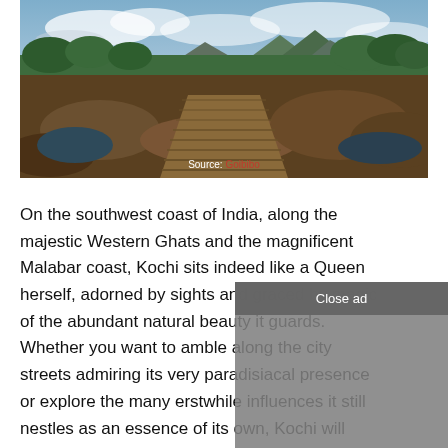[Figure (photo): Landscape photo of a wooden boardwalk/bridge over rocky terrain with water pools, surrounded by green vegetation, mountains in background, cloudy sky. Source: Goibibo watermark visible at bottom center.]
Source: Goibibo
On the southwest coast of India, along the majestic Western Ghats and the magnificent Malabar coast, Kochi sits indeed like a Queen herself, adorned by sights and graced by magic of the abundant natural beauty it guards. Whether you want to amble along the city streets admiring its very paradisiacal presence or explore the many erstwhile influences it still nestles as an essence of its own, Kochi will make you feel at home- alive, relaxed and oh so joyful!